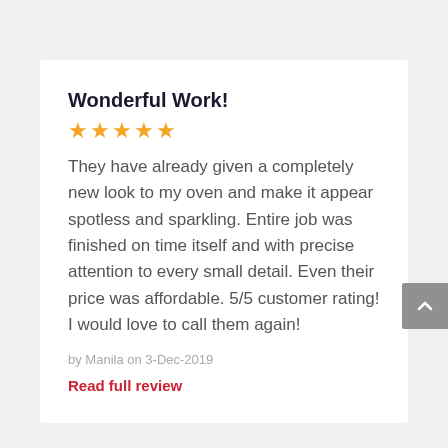Wonderful Work!
★★★★★
They have already given a completely new look to my oven and make it appear spotless and sparkling. Entire job was finished on time itself and with precise attention to every small detail. Even their price was affordable. 5/5 customer rating! I would love to call them again!
by Manila on 3-Dec-2019
Read full review